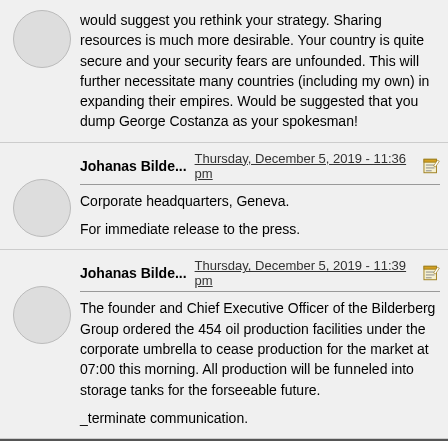would suggest you rethink your strategy. Sharing resources is much more desirable. Your country is quite secure and your security fears are unfounded. This will further necessitate many countries (including my own) in expanding their empires. Would be suggested that you dump George Costanza as your spokesman!
Johanas Bilde... Thursday, December 5, 2019 - 11:36 pm
Corporate headquarters, Geneva.

For immediate release to the press.
Johanas Bilde... Thursday, December 5, 2019 - 11:39 pm
The founder and Chief Executive Officer of the Bilderberg Group ordered the 454 oil production facilities under the corporate umbrella to cease production for the market at 07:00 this morning. All production will be funneled into storage tanks for the forseeable future.

_terminate communication.
Add a Message